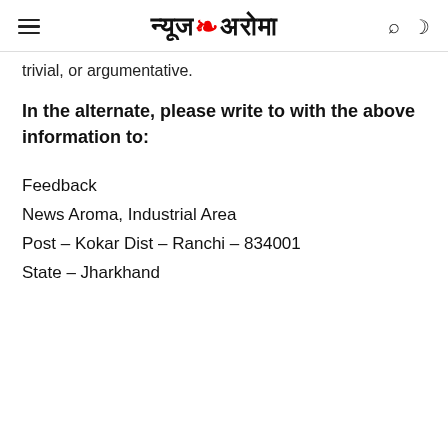न्यूज अरोमा
trivial, or argumentative.
In the alternate, please write to with the above information to:
Feedback
News Aroma, Industrial Area
Post – Kokar Dist – Ranchi – 834001
State – Jharkhand